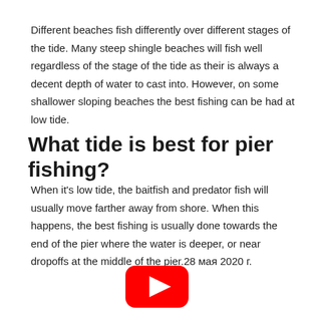Different beaches fish differently over different stages of the tide. Many steep shingle beaches will fish well regardless of the stage of the tide as their is always a decent depth of water to cast into. However, on some shallower sloping beaches the best fishing can be had at low tide.
What tide is best for pier fishing?
When it's low tide, the baitfish and predator fish will usually move farther away from shore. When this happens, the best fishing is usually done towards the end of the pier where the water is deeper, or near dropoffs at the middle of the pier.28 мая 2020 г.
[Figure (logo): YouTube logo / play button icon in red and white, partially visible at the bottom of the page]